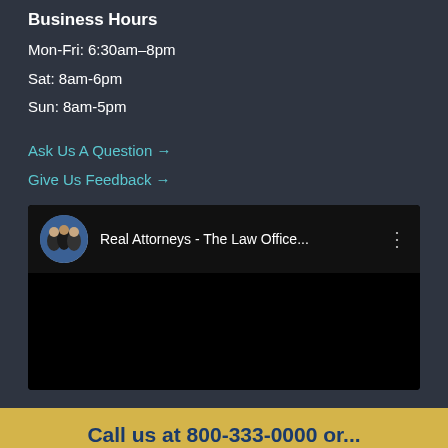Business Hours
Mon-Fri: 6:30am–8pm
Sat: 8am-6pm
Sun: 8am-5pm
Ask Us A Question →
Give Us Feedback →
[Figure (screenshot): Video player thumbnail with circular avatar showing group of attorneys, title 'Real Attorneys - The Law Office...' and three-dot menu icon]
Call us at 800-333-0000 or...
Submit your case to schedule a free consultation.
Do You Have A Case? >